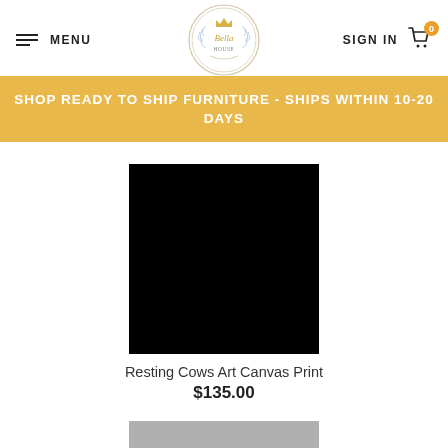MENU | The Bella House logo | SIGN IN | Cart (0)
SHOP READY TO SHIP FURNITURE - SHIPS WITHIN 10-20 DAYS
[Figure (photo): Black square product image for Resting Cows Art Canvas Print]
Resting Cows Art Canvas Print
$135.00
[Figure (photo): Partially visible gray product image at the bottom of the page]